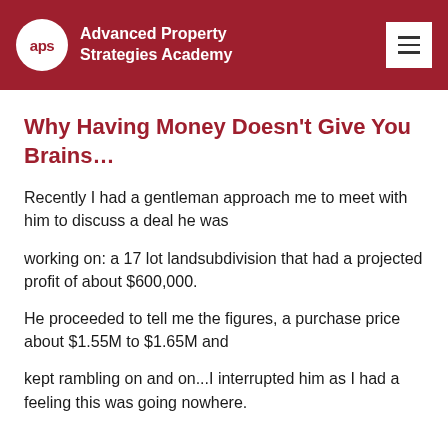Advanced Property Strategies Academy
Why Having Money Doesn't Give You Brains…
Recently I had a gentleman approach me to meet with him to discuss a deal he was
working on: a 17 lot landsubdivision that had a projected profit of about $600,000.
He proceeded to tell me the figures, a purchase price about $1.55M to $1.65M and
kept rambling on and on...I interrupted him as I had a feeling this was going nowhere.